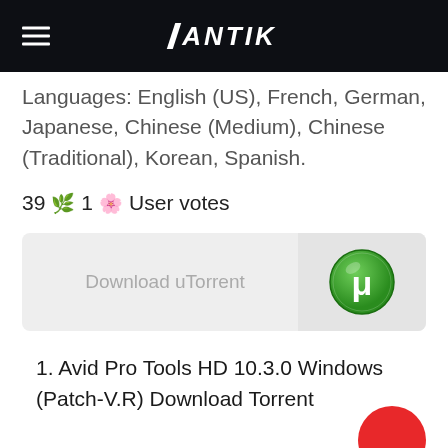ANTIK
Languages: English (US), French, German, Japanese, Chinese (Medium), Chinese (Traditional), Korean, Spanish.
39 👍 1 👎 User votes
[Figure (screenshot): Download uTorrent button with uTorrent green logo icon on the right]
1. Avid Pro Tools HD 10.3.0 Windows (Patch-V.R) Download Torrent